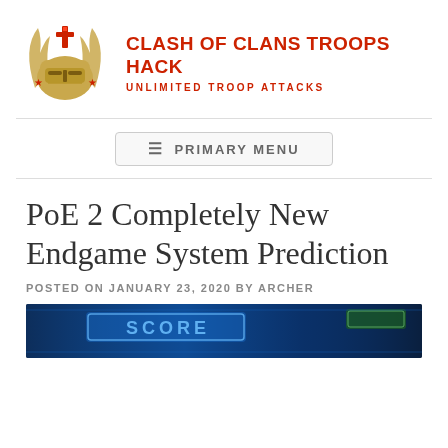[Figure (logo): Clash of Clans Troops Hack logo: golden knight helmet with bull horns and a red cross/sword, with red stars on each side]
CLASH OF CLANS TROOPS HACK
UNLIMITED TROOP ATTACKS
≡ PRIMARY MENU
PoE 2 Completely New Endgame System Prediction
POSTED ON JANUARY 23, 2020 BY ARCHER
[Figure (screenshot): Partial screenshot of a video game scene with blue neon lighting, showing the word SCORE on screen]